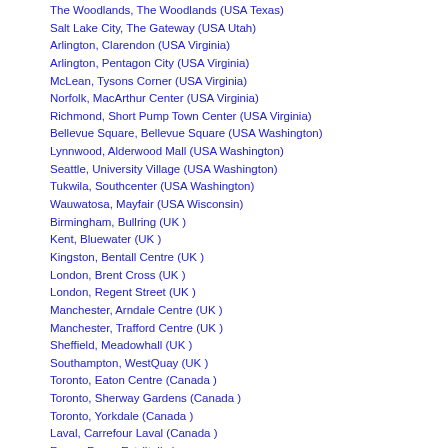The Woodlands, The Woodlands (USA Texas)
Salt Lake City, The Gateway (USA Utah)
Arlington, Clarendon (USA Virginia)
Arlington, Pentagon City (USA Virginia)
McLean, Tysons Corner (USA Virginia)
Norfolk, MacArthur Center (USA Virginia)
Richmond, Short Pump Town Center (USA Virginia)
Bellevue Square, Bellevue Square (USA Washington)
Lynnwood, Alderwood Mall (USA Washington)
Seattle, University Village (USA Washington)
Tukwila, Southcenter (USA Washington)
Wauwatosa, Mayfair (USA Wisconsin)
Birmingham, Bullring (UK )
Kent, Bluewater (UK )
Kingston, Bentall Centre (UK )
London, Brent Cross (UK )
London, Regent Street (UK )
Manchester, Arndale Centre (UK )
Manchester, Trafford Centre (UK )
Sheffield, Meadowhall (UK )
Southampton, WestQuay (UK )
Toronto, Eaton Centre (Canada )
Toronto, Sherway Gardens (Canada )
Toronto, Yorkdale (Canada )
Laval, Carrefour Laval (Canada )
Roma, Roma Est (Italia )